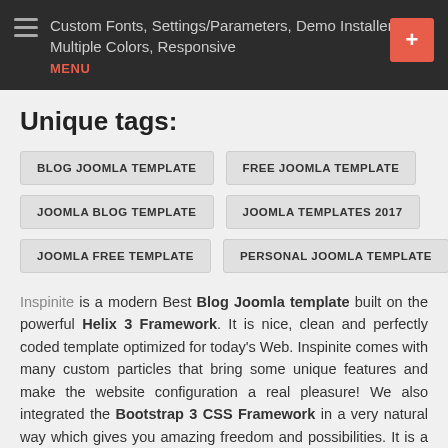Custom Fonts, Settings/Parameters, Demo Installer, Multiple Colors, Responsive
MENU
Unique tags:
BLOG JOOMLA TEMPLATE
FREE JOOMLA TEMPLATE
JOOMLA BLOG TEMPLATE
JOOMLA TEMPLATES 2017
JOOMLA FREE TEMPLATE
PERSONAL JOOMLA TEMPLATE
Inspinite is a modern Best Blog Joomla template built on the powerful Helix 3 Framework. It is nice, clean and perfectly coded template optimized for today's Web. Inspinite comes with many custom particles that bring some unique features and make the website configuration a real pleasure! We also integrated the Bootstrap 3 CSS Framework in a very natural way which gives you amazing freedom and possibilities. It is a responsive and well-structured Joomla template